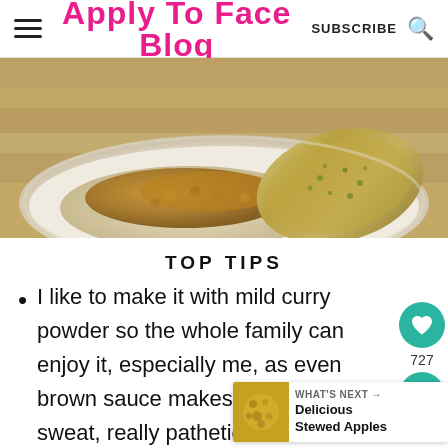Apply To Face Blog — SUBSCRIBE
[Figure (photo): Close-up photo of a plate of rice with curry sauce and herb flatbread/naan on a wooden surface]
TOP TIPS
I like to make it with mild curry powder so the whole family can enjoy it, especially me, as even brown sauce makes my bro sweat, really pathetic but true. I'm a